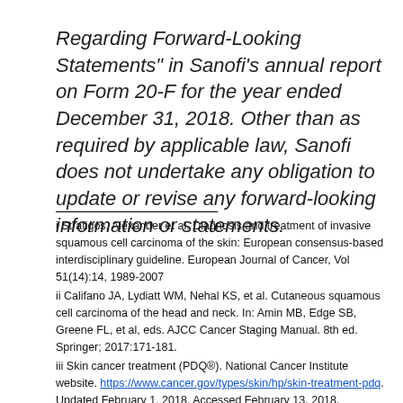Regarding Forward-Looking Statements" in Sanofi's annual report on Form 20-F for the year ended December 31, 2018. Other than as required by applicable law, Sanofi does not undertake any obligation to update or revise any forward-looking information or statements.
i Stratigos, Alexander et al. Diagnosis and treatment of invasive squamous cell carcinoma of the skin: European consensus-based interdisciplinary guideline. European Journal of Cancer, Vol 51(14):14, 1989-2007
ii Califano JA, Lydiatt WM, Nehal KS, et al. Cutaneous squamous cell carcinoma of the head and neck. In: Amin MB, Edge SB, Greene FL, et al, eds. AJCC Cancer Staging Manual. 8th ed. Springer; 2017:171-181.
iii Skin cancer treatment (PDQ®). National Cancer Institute website. https://www.cancer.gov/types/skin/hp/skin-treatment-pdq. Updated February 1, 2018. Accessed February 13, 2018.
iv Jennings L, Schmults CD. Management of high-risk cutaneous squamous cell carcinoma. J Clin Aesthet Dermatol. 2010;3(4):39-48.